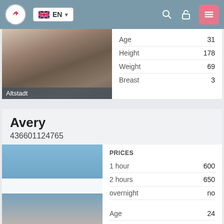EN (language selector, search, lock, menu icons)
[Figure (photo): Woman with handbag facing away, location label 'Altstadt']
|  |  |
| --- | --- |
| Age | 31 |
| Height | 178 |
| Weight | 69 |
| Breast | 3 |
Avery
436601124765
[Figure (photo): Woman with blurred face, blue background]
| PRICES |  |
| --- | --- |
| 1 hour | 600 |
| 2 hours | 650 |
| overnight | no |
| Age | 24 |
| Height | 167 |
| Weight | 54 |